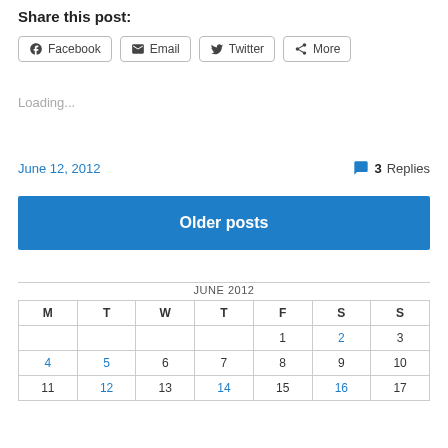Share this post:
Facebook  Email  Twitter  More
Loading...
June 12, 2012
3 Replies
Older posts
| M | T | W | T | F | S | S |
| --- | --- | --- | --- | --- | --- | --- |
|  |  |  |  | 1 | 2 | 3 |
| 4 | 5 | 6 | 7 | 8 | 9 | 10 |
| 11 | 12 | 13 | 14 | 15 | 16 | 17 |